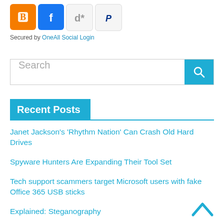[Figure (other): Four social login icon buttons: Blogger (orange), Facebook (blue), Diaspora (gray/white), PayPal (gray/white)]
Secured by OneAll Social Login
[Figure (other): Search bar with placeholder text 'Search' and a blue search button with magnifying glass icon]
Recent Posts
Janet Jackson’s ‘Rhythm Nation’ Can Crash Old Hard Drives
Spyware Hunters Are Expanding Their Tool Set
Tech support scammers target Microsoft users with fake Office 365 USB sticks
Explained: Steganography
Spying on the spies. See what JavaScript commands get injected by in-app browsers